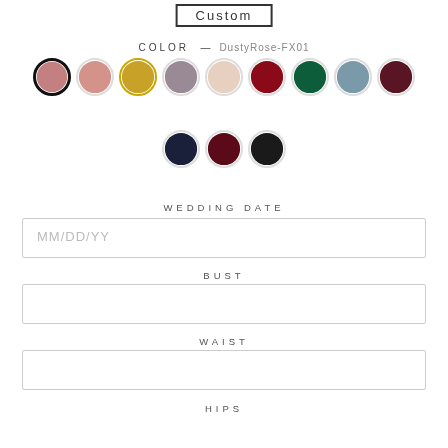Custom
COLOR — DustyRose-FX01
[Figure (illustration): Two rows of fabric color swatches: Row 1 has 9 circles (dusty rose selected, salmon/pink, gold/mustard, mauve/purple, blush/cream, deep red/burgundy, dark green, steel blue, dark wine); Row 2 has 3 circles (navy blue, dark burgundy, black)]
WEDDING DATE
MM/DD/YY
BUST
WAIST
HIPS